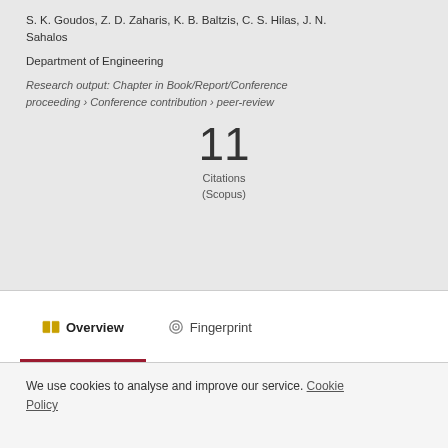S. K. Goudos, Z. D. Zaharis, K. B. Baltzis, C. S. Hilas, J. N. Sahalos
Department of Engineering
Research output: Chapter in Book/Report/Conference proceeding › Conference contribution › peer-review
11 Citations (Scopus)
Overview
Fingerprint
We use cookies to analyse and improve our service. Cookie Policy